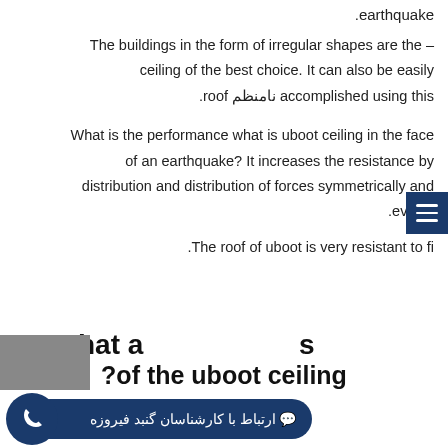.earthquake
The buildings in the form of irregular shapes are the – ceiling of the best choice. It can also be easily accomplished using this نامنظم roof.
What is the performance what is uboot ceiling in the face of an earthquake? It increases the resistance by distribution and distribution of forces symmetrically and evenly.
The roof of uboot is very resistant to fi.
What are the disadvantages of the uboot ceiling?
ارتباط با کارشناسان گنبد فیروزه